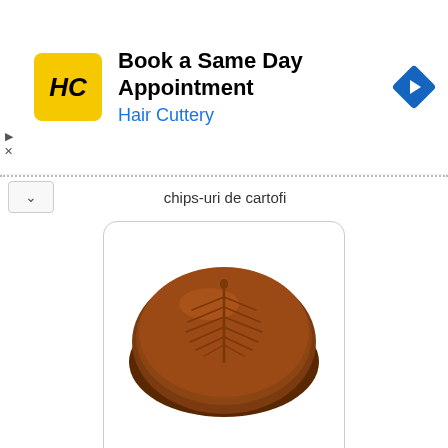[Figure (screenshot): Hair Cuttery advertisement banner with yellow HC logo, text 'Book a Same Day Appointment / Hair Cuttery', and blue navigation diamond icon]
chips-uri de cartofi
[Figure (photo): A brown chocolate praline candy with a leaf pattern embossed on top, on a white background, inside a rounded rectangle border]
프랄린
peulallin
pralină